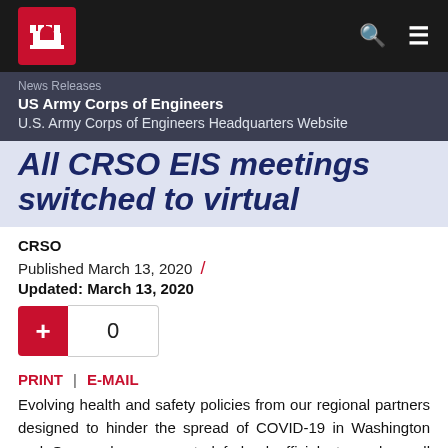[Figure (logo): US Army Corps of Engineers castle logo in white on red background in black navigation bar]
News Releases
US Army Corps of Engineers
U.S. Army Corps of Engineers Headquarters Website
All CRSO EIS meetings switched to virtual
CRSO
Published March 13, 2020 / Updated: March 13, 2020
PRINT | E-MAIL
Evolving health and safety policies from our regional partners designed to hinder the spread of COVID-19 in Washington and Oregon have prompted federal officials to replace all scheduled in-person public comment meetings with phone-in meetings for the recently released Columbia River System Operation draft Environmental Impact Statement.